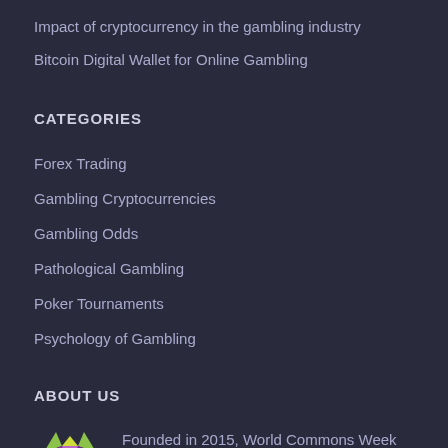Impact of cryptocurrency in the gambling industry
Bitcoin Digital Wallet for Online Gambling
CATEGORIES
Forex Trading
Gambling Cryptocurrencies
Gambling Odds
Pathological Gambling
Poker Tournaments
Psychology of Gambling
ABOUT US
Founded in 2015, World Commons Week aims at covering the latest news from the study and fun